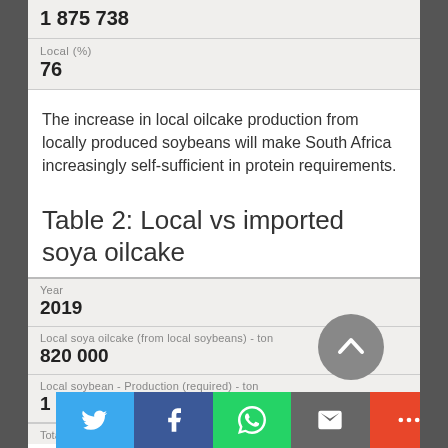| (top value) | 1 875 738 |
| Local (%) | 76 |
The increase in local oilcake production from locally produced soybeans will make South Africa increasingly self-sufficient in protein requirements.
Table 2: Local vs imported soya oilcake
| Year | 2019 |
| Local soya oilcake (from local soybeans) - ton | 820 000 |
| Local soybean - Production (required) - ton | 1 025 000 |
| Total soya oilcake (Requirements) - ton |  |